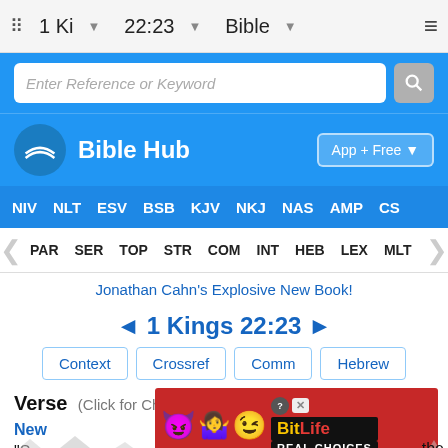1 Ki   22:23   Bible
Enter Reference or Keyword
[Figure (logo): Bible Hub logo with wave icon and text 'Bible Hub', App + Free button]
NIV  NLT  ESV  BSB  KJV  NKJ  NAS  AMP  CS
PAR  SER  TOP  STR  COM  INT  HEB  LEX  MLT
Jonathan Cahn's Explosive New Book!
◄ 1 Kings 22:23 ►
Context   Crossref   Comm   Hebrew
Verse (Click for Chapter)
New
"So n the
[Figure (screenshot): BitLife ad overlay with cartoon characters (devil, woman, angel emojis) and BitLife Real Choices branding]